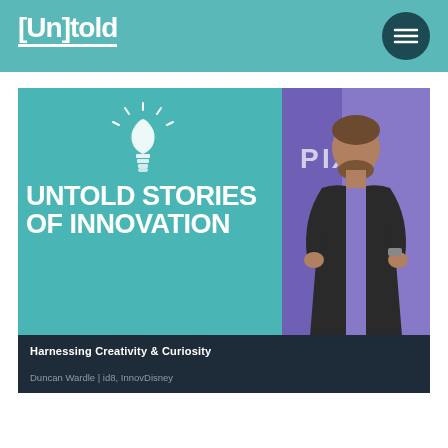[Un]told
[Figure (screenshot): Untold Stories of Innovation podcast/video thumbnail featuring a teal background with a glowing lightbulb icon, bold white text 'UNTOLD STORIES OF INNOVATION', and a photo of a man (Duncan Wardle) speaking in front of a Pixar backdrop. Bottom bar shows 'Harnessing Creativity & Curiosity' and 'Duncan Wardle | id8, InnovDisney']
Harnessing Creativity & Curiosity
Duncan Wardle | id8, InnovDisney